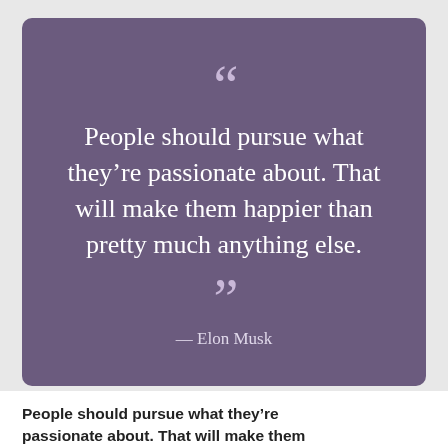[Figure (illustration): Purple rounded rectangle quote card with opening double quotation mark, quote text in white, closing double quotation mark, and attribution to Elon Musk]
People should pursue what they're passionate about. That will make them